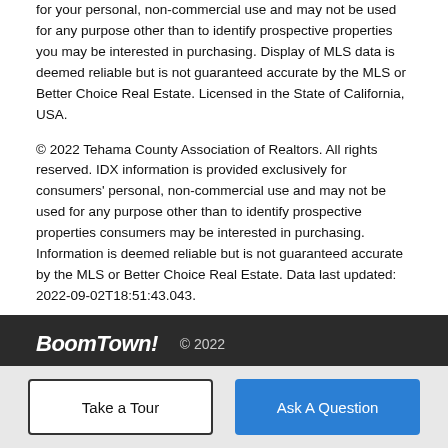for your personal, non-commercial use and may not be used for any purpose other than to identify prospective properties you may be interested in purchasing. Display of MLS data is deemed reliable but is not guaranteed accurate by the MLS or Better Choice Real Estate. Licensed in the State of California, USA.
© 2022 Tehama County Association of Realtors. All rights reserved. IDX information is provided exclusively for consumers' personal, non-commercial use and may not be used for any purpose other than to identify prospective properties consumers may be interested in purchasing. Information is deemed reliable but is not guaranteed accurate by the MLS or Better Choice Real Estate. Data last updated: 2022-09-02T18:51:43.043.
BoomTown! © 2022 | Terms of Use | Privacy Policy | Accessibility | DMCA | Listings Sitemap
Take a Tour   Ask A Question